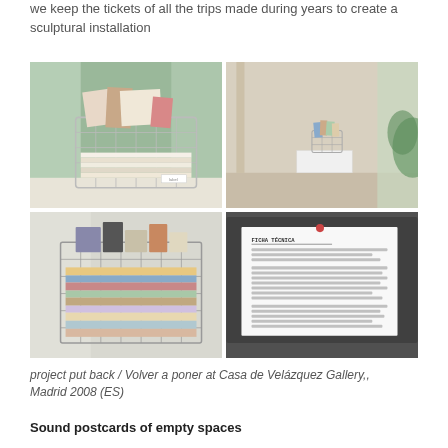we keep the tickets of all the trips made during years to create a sculptural installation
[Figure (photo): Four-photo grid showing a transparent/wire mesh box or basket filled with papers, postcards and tickets displayed as an art installation at Casa de Velázquez Gallery. Top-left: close-up of box with papers inside near a window. Top-right: box on white pedestal from a distance. Bottom-left: close-up of colourful stacked papers/tickets inside box. Bottom-right: typed text document pinned to a surface.]
project put back / Volver a poner at Casa de Velázquez Gallery,, Madrid 2008 (ES)
Sound postcards of empty spaces